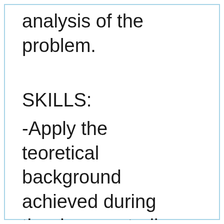analysis of the problem.
SKILLS:
-Apply the teoreticall background achieved during the degree studies